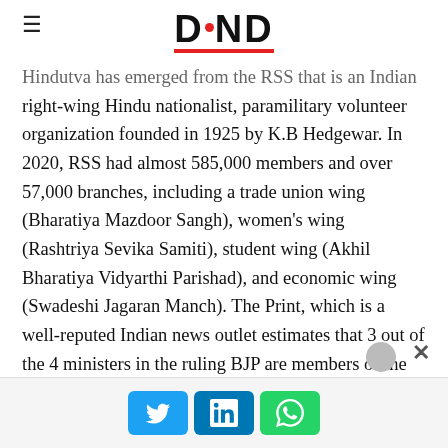DND
Hindutva has emerged from the RSS that is an Indian right-wing Hindu nationalist, paramilitary volunteer organization founded in 1925 by K.B Hedgewar. In 2020, RSS had almost 585,000 members and over 57,000 branches, including a trade union wing (Bharatiya Mazdoor Sangh), women’s wing (Rashtriya Sevika Samiti), student wing (Akhil Bharatiya Vidyarthi Parishad), and economic wing (Swadeshi Jagaran Manch). The Print, which is a well-reputed Indian news outlet estimates that 3 out of the 4 ministers in the ruling BJP are members of the RSS, including the current